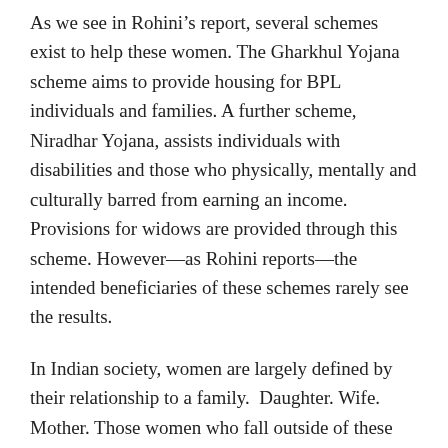As we see in Rohini's report, several schemes exist to help these women. The Gharkhul Yojana scheme aims to provide housing for BPL individuals and families. A further scheme, Niradhar Yojana, assists individuals with disabilities and those who physically, mentally and culturally barred from earning an income. Provisions for widows are provided through this scheme. However—as Rohini reports—the intended beneficiaries of these schemes rarely see the results.
In Indian society, women are largely defined by their relationship to a family.  Daughter. Wife. Mother. Those women who fall outside of these role or are extracted from a family suffer a significant loss of identity. These invisible women fall between the cracks.